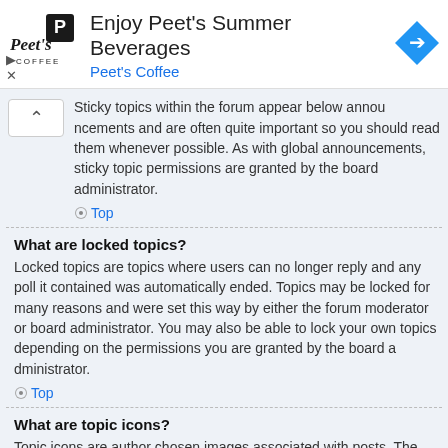[Figure (logo): Peet's Coffee logo with text and navigation arrow icon ad banner]
Sticky topics within the forum appear below announcements and are often quite important so you should read them whenever possible. As with global announcements, sticky topic permissions are granted by the board administrator.
Top
What are locked topics?
Locked topics are topics where users can no longer reply and any poll it contained was automatically ended. Topics may be locked for many reasons and were set this way by either the forum moderator or board administrator. You may also be able to lock your own topics depending on the permissions you are granted by the board administrator.
Top
What are topic icons?
Topic icons are author chosen images associated with posts. The ability to use topic icons depends on the permissions set by the board administrator.
Top